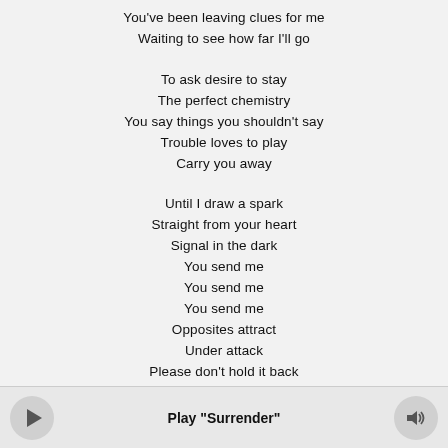You've been leaving clues for me
Waiting to see how far I'll go
To ask desire to stay
The perfect chemistry
You say things you shouldn't say
Trouble loves to play
Carry you away
Until I draw a spark
Straight from your heart
Signal in the dark
You send me
You send me
You send me
Opposites attract
Under attack
Please don't hold it back
Give in to sweet surrender
Play "Surrender"